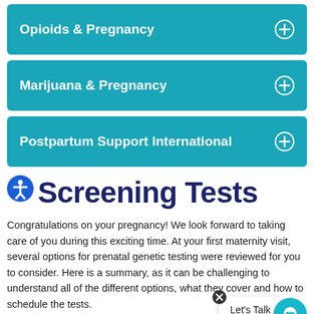Opioids & Pregnancy
Marijuana & Pregnancy
Postpartum Support International
Screening Tests
Congratulations on your pregnancy! We look forward to taking care of you during this exciting time. At your first maternity visit, several options for prenatal genetic testing were reviewed for you to consider. Here is a summary, as it can be challenging to understand all of the different options, what they cover and how to schedule the tests.